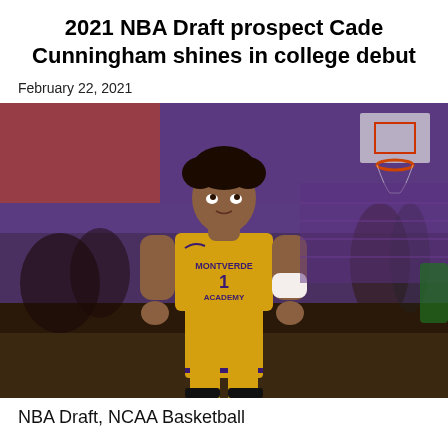2021 NBA Draft prospect Cade Cunningham shines in college debut
February 22, 2021
[Figure (photo): Basketball player Cade Cunningham wearing a gold Montverde Academy jersey with number 1, standing on a basketball court looking upward. Purple stadium seats visible in background along with other players and spectators.]
NBA Draft, NCAA Basketball